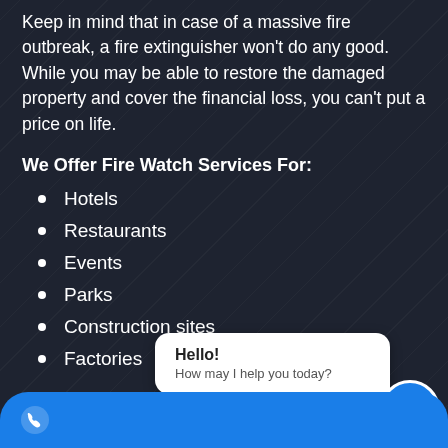Keep in mind that in case of a massive fire outbreak, a fire extinguisher won't do any good. While you may be able to restore the damaged property and cover the financial loss, you can't put a price on life.
We Offer Fire Watch Services For:
Hotels
Restaurants
Events
Parks
Construction sites
Factories
Hello! How may I help you today?